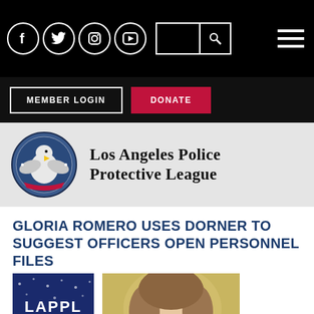[Figure (screenshot): Black top navigation bar with social media icons (Facebook, Twitter, Instagram, YouTube), a search box, and hamburger menu icon]
[Figure (screenshot): Dark navigation bar with MEMBER LOGIN and DONATE buttons]
[Figure (logo): Los Angeles Police Protective League logo with eagle emblem and organization name]
GLORIA ROMERO USES DORNER TO SUGGEST OFFICERS OPEN PERSONNEL FILES
[Figure (photo): LAPPL Blog thumbnail with blue star background]
[Figure (photo): Photo of a woman with blonde hair, partially cropped at bottom of page]